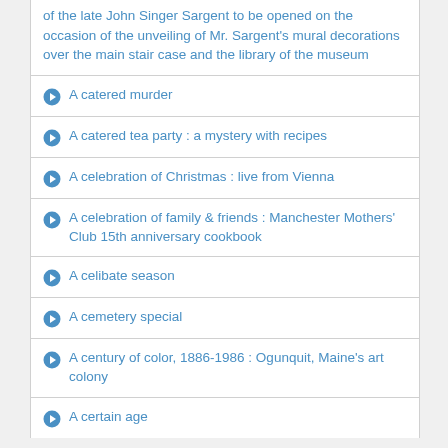of the late John Singer Sargent to be opened on the occasion of the unveiling of Mr. Sargent's mural decorations over the main stair case and the library of the museum
A catered murder
A catered tea party : a mystery with recipes
A celebration of Christmas : live from Vienna
A celebration of family & friends : Manchester Mothers' Club 15th anniversary cookbook
A celibate season
A cemetery special
A century of color, 1886-1986 : Ogunquit, Maine's art colony
A certain age